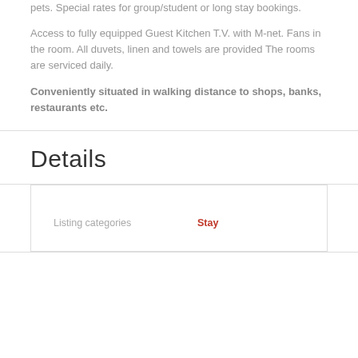pets. Special rates for group/student or long stay bookings.
Access to fully equipped Guest Kitchen T.V. with M-net. Fans in the room. All duvets, linen and towels are provided The rooms are serviced daily.
Conveniently situated in walking distance to shops, banks, restaurants etc.
Details
| Listing categories | Stay |
| --- | --- |
| Listing categories | Stay |